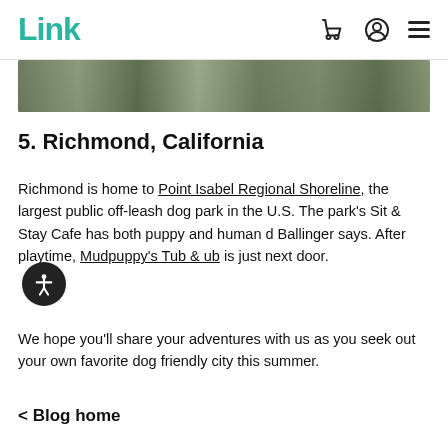Link [cart icon] [account icon] [menu icon]
[Figure (photo): Partial view of an outdoor scene, cropped image strip showing greenery and possibly a dog or park setting]
5. Richmond, California
Richmond is home to Point Isabel Regional Shoreline, the largest public off-leash dog park in the U.S. The park's Sit & Stay Cafe has both puppy and human d Ballinger says. After playtime, Mudpuppy's Tub & ub is just next door.
We hope you'll share your adventures with us as you seek out your own favorite dog friendly city this summer.
< Blog home